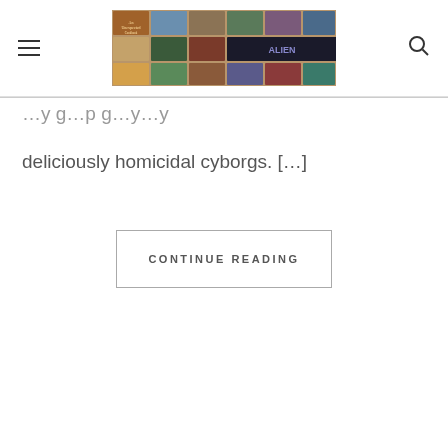[Figure (screenshot): Website header/navigation bar with hamburger menu icon on the left, a collage banner image of cookbook covers in the center, and a search icon on the right]
deliciously homicidal cyborgs. […]
CONTINUE READING